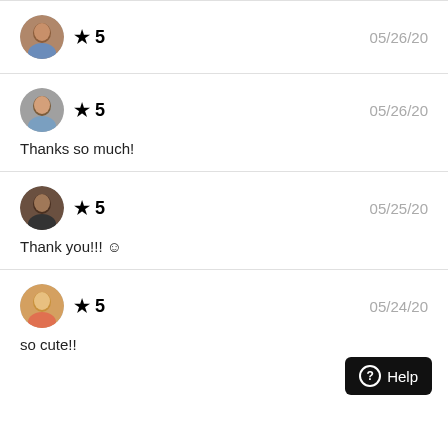★ 5   05/26/20
★ 5   05/26/20
Thanks so much!
★ 5   05/25/20
Thank you!!! ☺
★ 5   05/24/20
so cute!!